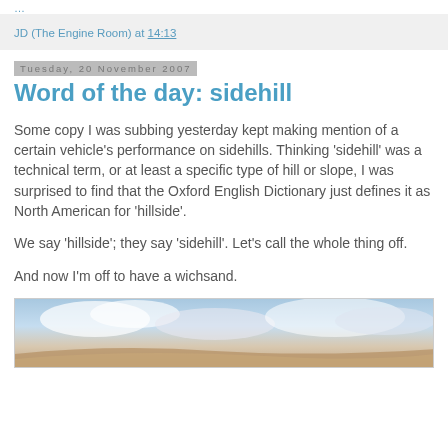JD (The Engine Room) at 14:13
Tuesday, 20 November 2007
Word of the day: sidehill
Some copy I was subbing yesterday kept making mention of a certain vehicle's performance on sidehills. Thinking 'sidehill' was a technical term, or at least a specific type of hill or slope, I was surprised to find that the Oxford English Dictionary just defines it as North American for 'hillside'.
We say 'hillside'; they say 'sidehill'. Let's call the whole thing off.
And now I'm off to have a wichsand.
[Figure (photo): Photo of a hillside or landscape with clouds and sky]